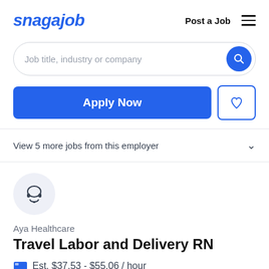snagajob   Post a Job  ☰
Job title, industry or company
Apply Now
View 5 more jobs from this employer
[Figure (logo): Headset/customer support icon in a light blue circle — Aya Healthcare company logo]
Aya Healthcare
Travel Labor and Delivery RN
Est. $37.53 - $55.06 / hour